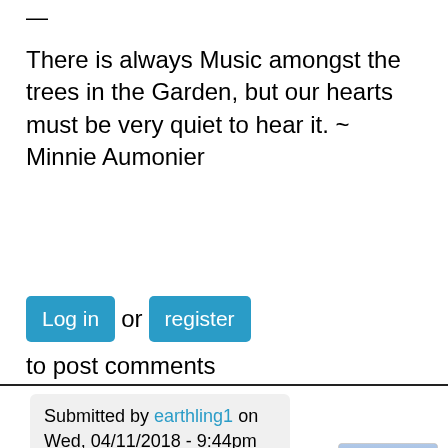—
There is always Music amongst the trees in the Garden, but our hearts must be very quiet to hear it. ~ Minnie Aumonier
Log in or register to post comments
Submitted by earthling1 on Wed, 04/11/2018 - 9:44pm
They could zero in
@Anja Geitz on the Scull and Crossbones club for extra points.
[Figure (screenshot): Thumbnail image with mountain/lake landscape and dark circular overlay with up arrow icon]